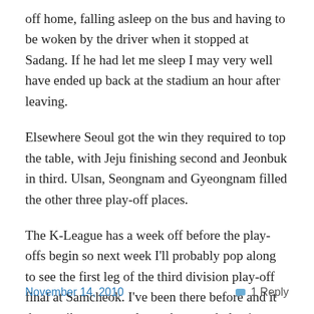off home, falling asleep on the bus and having to be woken by the driver when it stopped at Sadang. If he had let me sleep I may very well have ended up back at the stadium an hour after leaving.
Elsewhere Seoul got the win they required to top the table, with Jeju finishing second and Jeonbuk in third. Ulsan, Seongnam and Gyeongnam filled the other three play-off places.
The K-League has a week off before the play-offs begin so next week I'll probably pop along to see the first leg of the third division play-off final at Samcheok. I've been there before and it does strike me as a place where a whole pig wrapped in polythene wouldn't attract a second glance.
November 14, 2010    💬 1 Reply